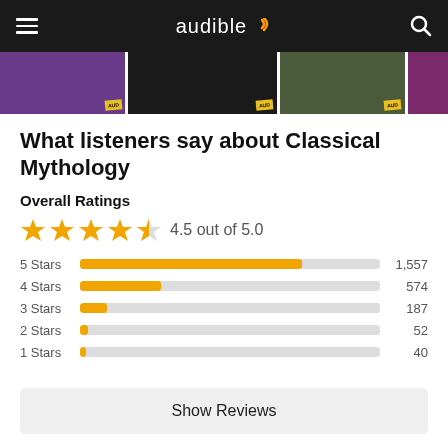audible
[Figure (screenshot): Three audiobook cover thumbnails with Audible badges visible in a horizontal strip]
What listeners say about Classical Mythology
Overall Ratings
[Figure (bar-chart): Ratings distribution]
Show Reviews